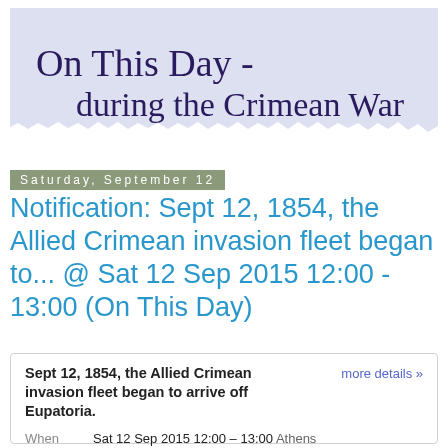[Figure (illustration): Torn paper banner with cursive script text reading 'On This Day - during the Crimean War' on a light lavender/grey background]
Saturday, September 12
Notification: Sept 12, 1854, the Allied Crimean invasion fleet began to... @ Sat 12 Sep 2015 12:00 - 13:00 (On This Day)
| Sept 12, 1854, the Allied Crimean invasion fleet began to arrive off Eupatoria. | more details » |
| When | Sat 12 Sep 2015 12:00 – 13:00 Athens |
| Where | Yevpatoriya, Crimea (map) |
| Calendar | On This Day |